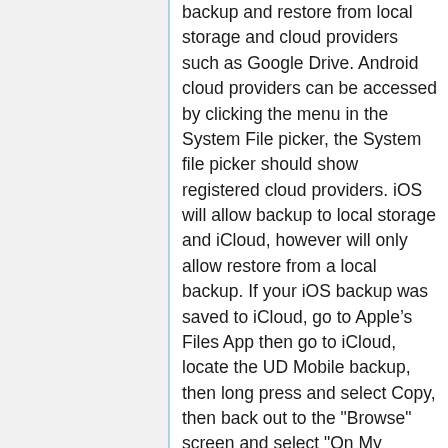backup and restore from local storage and cloud providers such as Google Drive. Android cloud providers can be accessed by clicking the menu in the System File picker, the System file picker should show registered cloud providers. iOS will allow backup to local storage and iCloud, however will only allow restore from a local backup. If your iOS backup was saved to iCloud, go to Apple's Files App then go to iCloud, locate the UD Mobile backup, then long press and select Copy, then back out to the "Browse" screen and select "On My Phone", then paste the backup file into your iPhone local storage, the backup should now be available for restoration. Currently iOS and Android backups are not compatible with the other platform. Amazon Android and Google Android